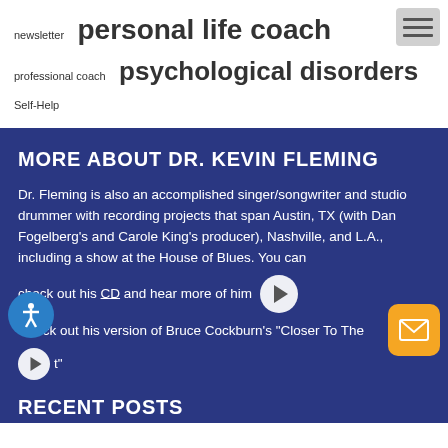newsletter personal life coach professional coach psychological disorders Self-Help stress stress management therapy truth wellness
MORE ABOUT DR. KEVIN FLEMING
Dr. Fleming is also an accomplished singer/songwriter and studio drummer with recording projects that span Austin, TX (with Dan Fogelberg's and Carole King's producer), Nashville, and L.A., including a show at the House of Blues. You can check out his CD and hear more of him
Check out his version of Bruce Cockburn's "Closer To The Light"
RECENT POSTS